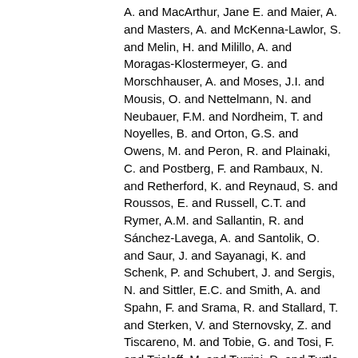A. and MacArthur, Jane E. and Maier, A. and Masters, A. and McKenna-Lawlor, S. and Melin, H. and Milillo, A. and Moragas-Klostermeyer, G. and Morschhauser, A. and Moses, J.I. and Mousis, O. and Nettelmann, N. and Neubauer, F.M. and Nordheim, T. and Noyelles, B. and Orton, G.S. and Owens, M. and Peron, R. and Plainaki, C. and Postberg, F. and Rambaux, N. and Retherford, K. and Reynaud, S. and Roussos, E. and Russell, C.T. and Rymer, A.M. and Sallantin, R. and Sánchez-Lavega, A. and Santolik, O. and Saur, J. and Sayanagi, K. and Schenk, P. and Schubert, J. and Sergis, N. and Sittler, E.C. and Smith, A. and Spahn, F. and Srama, R. and Stallard, T. and Sterken, V. and Sternovsky, Z. and Tiscareno, M. and Tobie, G. and Tosi, F. and Trieloff, M. and Turrini, D. and Turtle, E.P. and Vinatier, S. and Wilson, R. and Zarka, P. (2014) The science case for an orbital mission to Uranus: exploring the origins and evolution of ice giant planets. Planetary and Space Science 104A , pp. 122-140. ISSN 0032-0633.